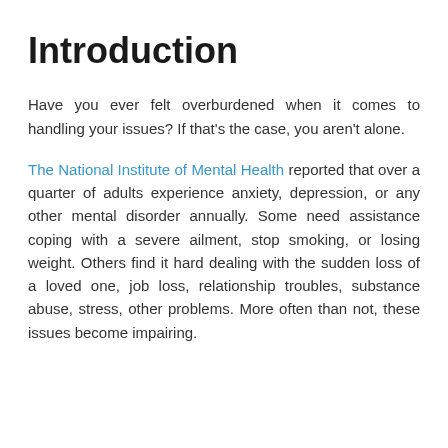Introduction
Have you ever felt overburdened when it comes to handling your issues? If that’s the case, you aren’t alone.
The National Institute of Mental Health reported that over a quarter of adults experience anxiety, depression, or any other mental disorder annually. Some need assistance coping with a severe ailment, stop smoking, or losing weight. Others find it hard dealing with the sudden loss of a loved one, job loss, relationship troubles, substance abuse, stress, other problems. More often than not, these issues become impairing.